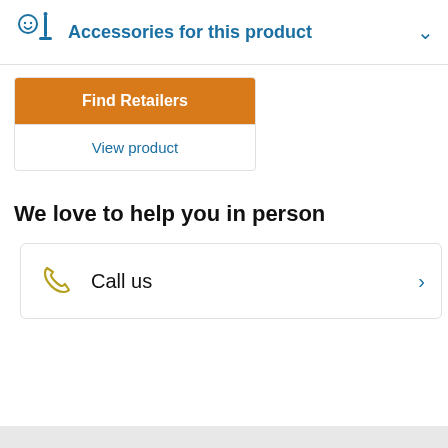Accessories for this product
Find Retailers
View product
We love to help you in person
Call us